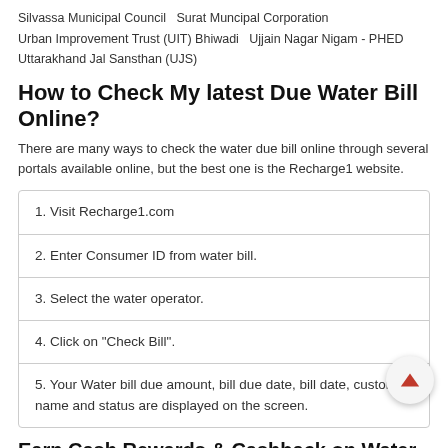Silvassa Municipal Council   Surat Muncipal Corporation
Urban Improvement Trust (UIT) Bhiwadi   Ujjain Nagar Nigam - PHED
Uttarakhand Jal Sansthan (UJS)
How to Check My latest Due Water Bill Online?
There are many ways to check the water due bill online through several portals available online, but the best one is the Recharge1 website.
1. Visit Recharge1.com
2. Enter Consumer ID from water bill.
3. Select the water operator.
4. Click on "Check Bill".
5. Your Water bill due amount, bill due date, bill date, customer name and status are displayed on the screen.
Earn Cash Rewards & Cashback on Water Bill Payment Online